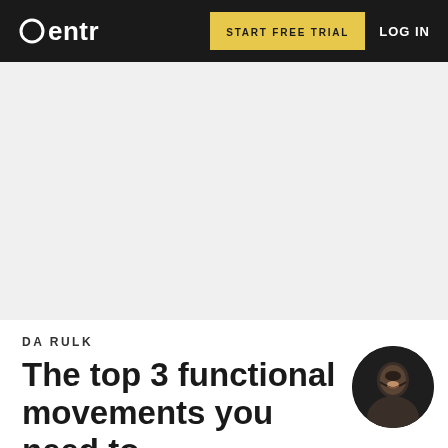Centr | START FREE TRIAL | LOG IN
[Figure (photo): Large hero image area, mostly white/light gray placeholder]
DA RULK
The top 3 functional movements you need to